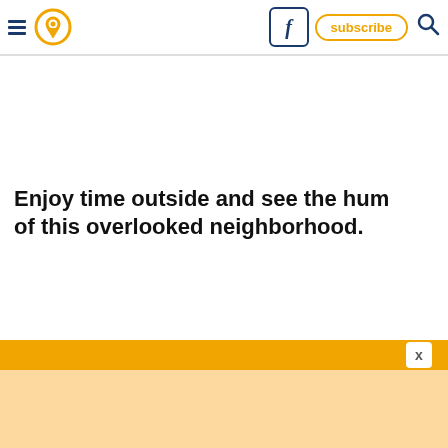Navigation header with hamburger menu, location pin icon, Facebook button, subscribe button, and search icon
Enjoy time outside and see the hum of this overlooked neighborhood.
[Figure (other): Orange advertisement banner with X close button and light orange content area below]